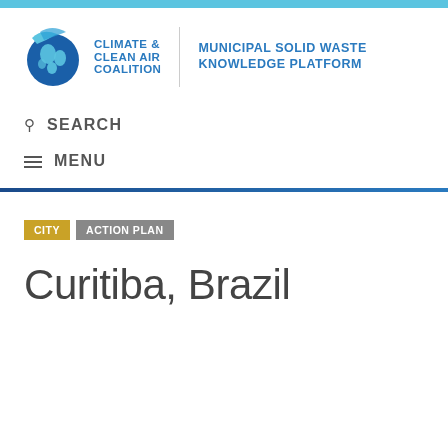[Figure (logo): Climate & Clean Air Coalition logo with globe icon and text, alongside Municipal Solid Waste Knowledge Platform text]
SEARCH
MENU
CITY  ACTION PLAN
Curitiba, Brazil